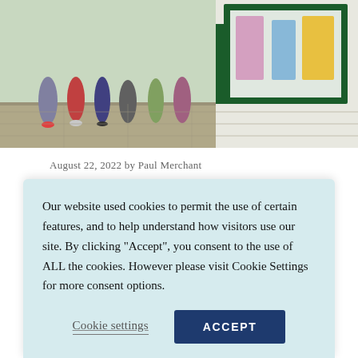[Figure (photo): Street-level photo of a charity shop front with green window frames and people queuing outside on a paved street]
August 22, 2022 by Paul Merchant
Florence Nightingale Hospice Charity shop opens in Marlow
Marlow's Mayor, Richard Scott, opened the Florence
Our website used cookies to permit the use of certain features, and to help understand how visitors use our site. By clicking "Accept", you consent to the use of ALL the cookies. However please visit Cookie Settings for more consent options.